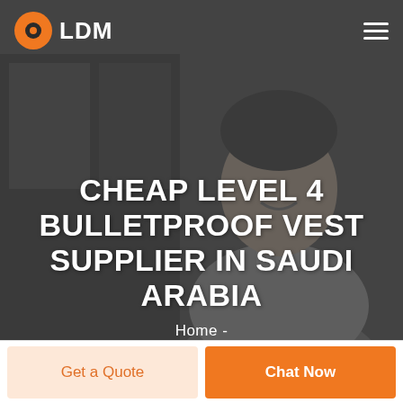[Figure (screenshot): Website hero section with dark overlaid photo of a smiling businessman, LDM logo with orange camera icon top-left, hamburger menu top-right]
CHEAP LEVEL 4 BULLETPROOF VEST SUPPLIER IN SAUDI ARABIA
Home -
Get a Quote
Chat Now